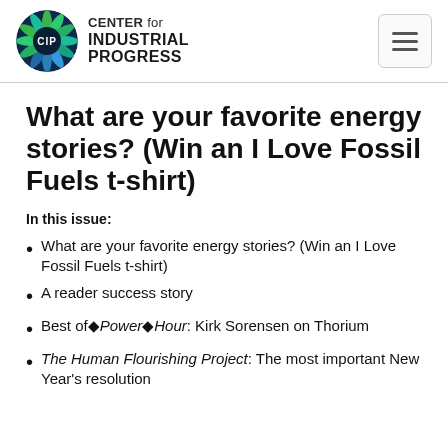[Figure (logo): Center for Industrial Progress logo: circular emblem with CIP text, green and blue sunburst pattern, with organization name text to the right]
What are your favorite energy stories? (Win an I Love Fossil Fuels t-shirt)
In this issue:
What are your favorite energy stories? (Win an I Love Fossil Fuels t-shirt)
A reader success story
Best of Power Hour: Kirk Sorensen on Thorium
The Human Flourishing Project: The most important New Year's resolution